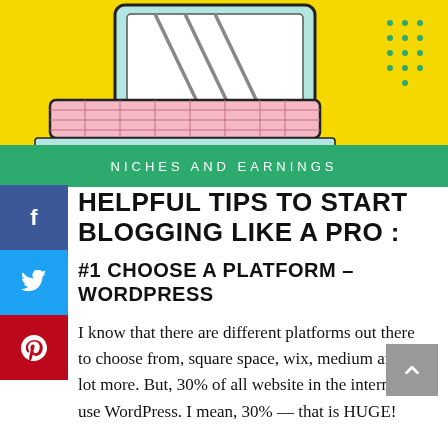[Figure (illustration): Yellow background header illustration with a laptop/computer drawing in line-art style, pink keyboard, teal screen frame, with green dots decoration in the top right corner]
NICHES AND EARNINGS
HELPFUL TIPS TO START BLOGGING LIKE A PRO :
#1 CHOOSE A PLATFORM – WORDPRESS
I know that there are different platforms out there to choose from, square space, wix, medium and a lot more. But, 30% of all website in the internet use WordPress. I mean, 30% — that is HUGE!